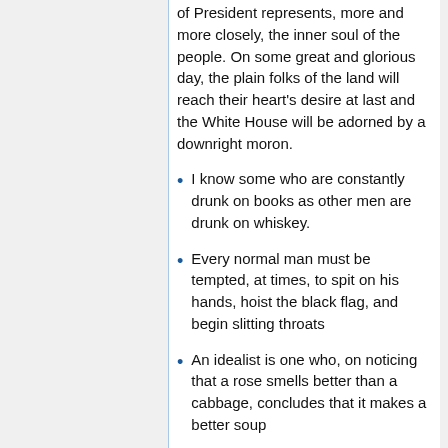of President represents, more and more closely, the inner soul of the people. On some great and glorious day, the plain folks of the land will reach their heart's desire at last and the White House will be adorned by a downright moron.
I know some who are constantly drunk on books as other men are drunk on whiskey.
Every normal man must be tempted, at times, to spit on his hands, hoist the black flag, and begin slitting throats
An idealist is one who, on noticing that a rose smells better than a cabbage, concludes that it makes a better soup
A cynic is a man who, when he